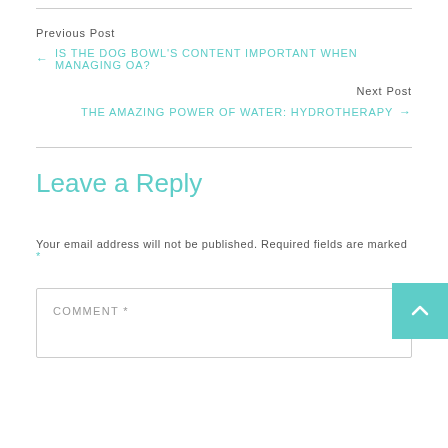Previous Post
← IS THE DOG BOWL'S CONTENT IMPORTANT WHEN MANAGING OA?
Next Post
THE AMAZING POWER OF WATER: HYDROTHERAPY →
Leave a Reply
Your email address will not be published. Required fields are marked *
COMMENT *